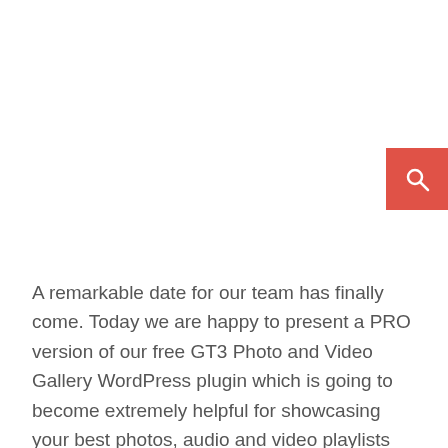[Figure (other): Red search button with magnifying glass icon in the upper right area of the page]
A remarkable date for our team has finally come. Today we are happy to present a PRO version of our free GT3 Photo and Video Gallery WordPress plugin which is going to become extremely helpful for showcasing your best photos, audio and video playlists on your WordPress website.
If you are a photographer, videographer or illustrator, take this plugin right away to discover all of its unrivaled and